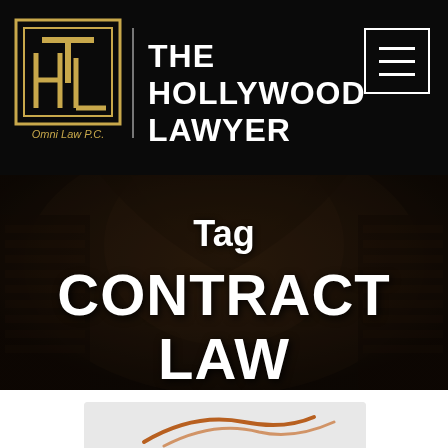THE HOLLYWOOD LAWYER — Omni Law P.C.
Tag
CONTRACT LAW
[Figure (photo): Partial view of a cursive/decorative text image, cropped at bottom of page, appears to be a preview card for an article]